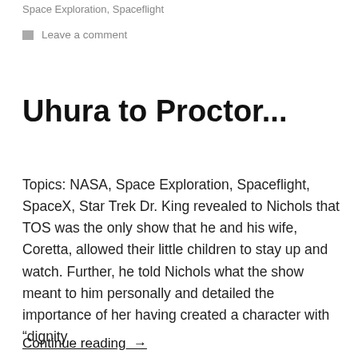Space Exploration, Spaceflight
Leave a comment
Uhura to Proctor...
Topics: NASA, Space Exploration, Spaceflight, SpaceX, Star Trek Dr. King revealed to Nichols that TOS was the only show that he and his wife, Coretta, allowed their little children to stay up and watch. Further, he told Nichols what the show meant to him personally and detailed the importance of her having created a character with “dignity
Continue reading →